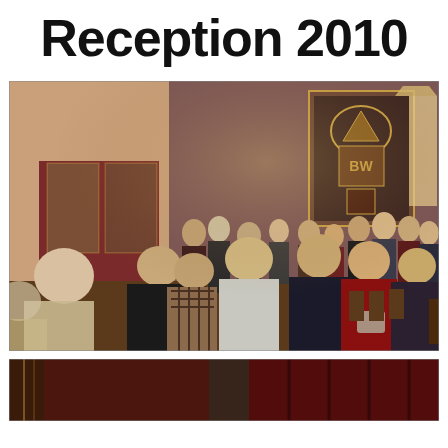Reception 2010
[Figure (photo): A large group of people mingling at an indoor reception event in a hall decorated with ornate stained glass artwork on the walls. People are dressed in business attire and engaged in conversation.]
[Figure (photo): Bottom portion of a second photo showing a dimly lit interior space with dark red/maroon curtains or walls, partially visible.]